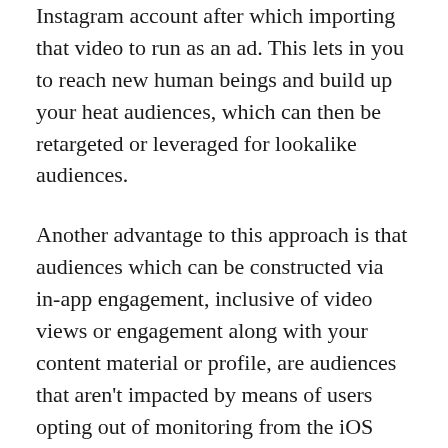Instagram account after which importing that video to run as an ad. This lets in you to reach new human beings and build up your heat audiences, which can then be retargeted or leveraged for lookalike audiences.
Another advantage to this approach is that audiences which can be constructed via in-app engagement, inclusive of video views or engagement along with your content material or profile, are audiences that aren't impacted by means of users opting out of monitoring from the iOS updates.
Emily Hirsh is a social advertising and marketing professional and business enterprise owner specializing in assisting busy enterprise owners and